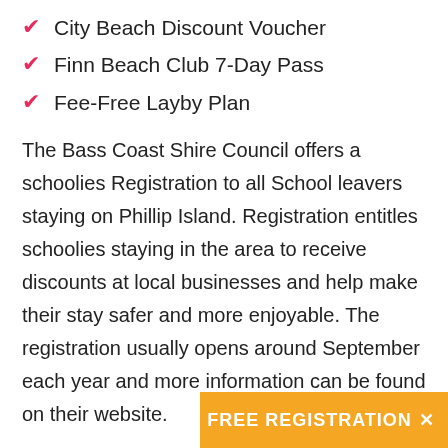City Beach Discount Voucher
Finn Beach Club 7-Day Pass
Fee-Free Layby Plan
The Bass Coast Shire Council offers a schoolies Registration to all School leavers staying on Phillip Island. Registration entitles schoolies staying in the area to receive discounts at local businesses and help make their stay safer and more enjoyable. The registration usually opens around September each year and more information can be found on their website.
For schoolies graduating this year information relating to whether or not a similar registration will be operating will be provided closer to arrival.
Full information on whe
FREE REGISTRATION